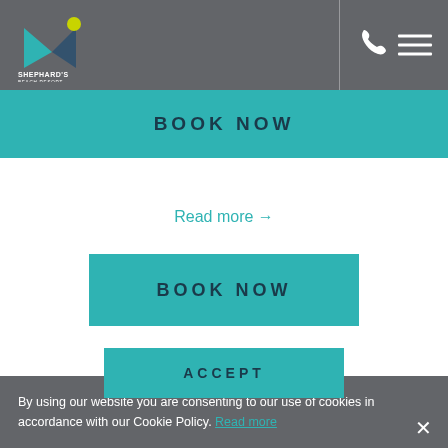[Figure (logo): Shephard's Beach Resort Clearwater Beach logo with teal and yellow bird/star graphic]
BOOK NOW
Read more →
BOOK NOW
By using our website you are consenting to our use of cookies in accordance with our Cookie Policy. Read more
ACCEPT